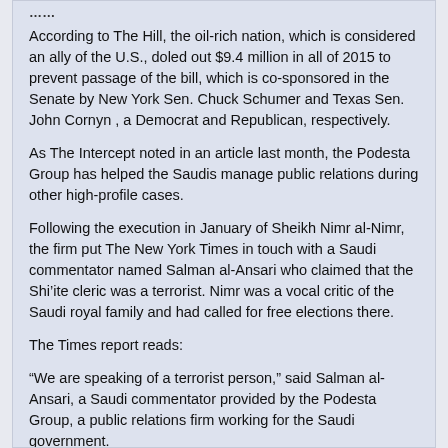According to The Hill, the oil-rich nation, which is considered an ally of the U.S., doled out $9.4 million in all of 2015 to prevent passage of the bill, which is co-sponsored in the Senate by New York Sen. Chuck Schumer and Texas Sen. John Cornyn , a Democrat and Republican, respectively.
As The Intercept noted in an article last month, the Podesta Group has helped the Saudis manage public relations during other high-profile cases.
Following the execution in January of Sheikh Nimr al-Nimr, the firm put The New York Times in touch with a Saudi commentator named Salman al-Ansari who claimed that the Shi’ite cleric was a terrorist. Nimr was a vocal critic of the Saudi royal family and had called for free elections there.
The Times report reads:
“We are speaking of a terrorist person,” said Salman al-Ansari, a Saudi commentator provided by the Podesta Group, a public relations firm working for the Saudi government.
Mr. Ansari accused Sheikh Nimr, who was in his